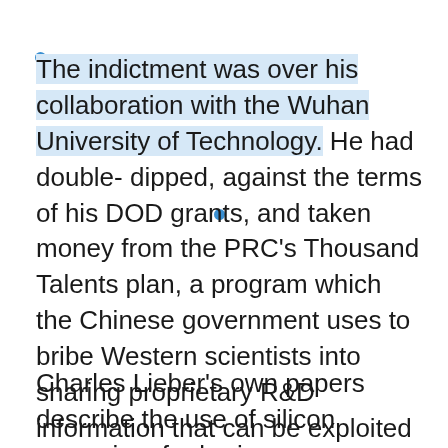The indictment was over his collaboration with the Wuhan University of Technology. He had double- dipped, against the terms of his DOD grants, and taken money from the PRC's Thousand Talents plan, a program which the Chinese government uses to bribe Western scientists into sharing proprietary R&D information that can be exploited by the PLA for strategic advantage.
Charles Lieber's own papers describe the use of silicon nanowires for brain-